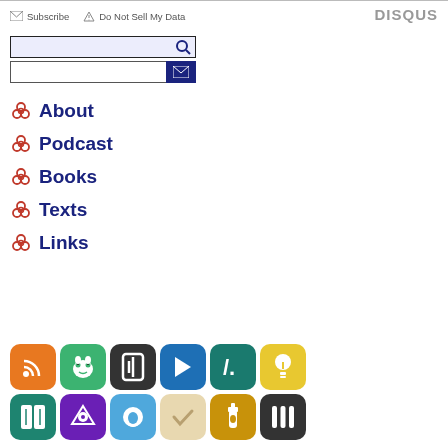Subscribe  Do Not Sell My Data  DISQUS
[Figure (screenshot): Search input box with magnifying glass icon and email subscription input with dark blue envelope button]
About
Podcast
Books
Texts
Links
[Figure (infographic): Grid of 12 app icons in two rows: RSS (orange), Frog/Mastodon (green), Pockity (dark gray), Readwise (blue), Micro.blog (teal), Idea/Instapaper (yellow), iBooks (teal), Metaburner (purple), Speeko (blue), OmniFocus/check (tan), Untappd (gold), Intercom (dark gray)]